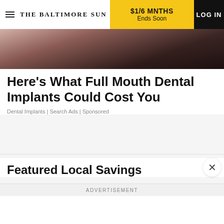THE BALTIMORE SUN | $1/6 MNTHS Ends Soon | LOG IN
[Figure (photo): Partial photo of a person's face/neck, dark background, close-up dental or medical related image]
Here's What Full Mouth Dental Implants Could Cost You
Dental Implants | Search Ads | Sponsored
Featured Local Savings
ADVERTISEMENT